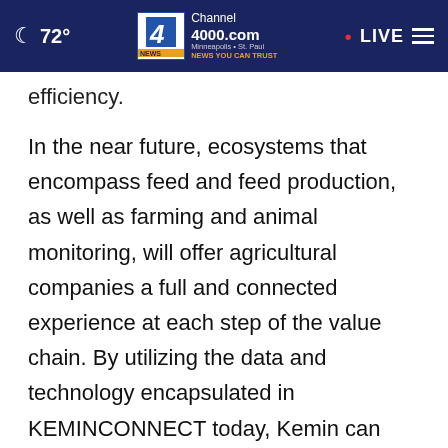72° | Channel 4000.com | Minneapolis • St. Paul | NEWS YOU CAN TRUST | LIVE
efficiency.
In the near future, ecosystems that encompass feed and feed production, as well as farming and animal monitoring, will offer agricultural companies a full and connected experience at each step of the value chain. By utilizing the data and technology encapsulated in KEMINCONNECT today, Kemin can identify what brings true value to its customers tomorrow.
The speakers also stressed the importance of